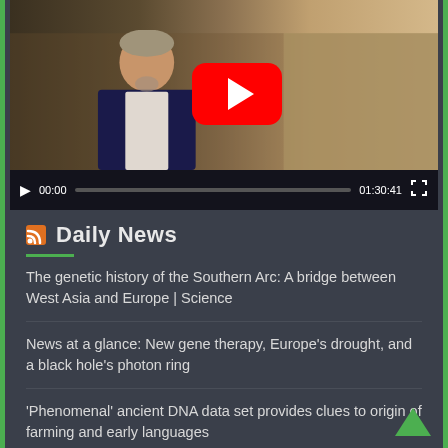[Figure (screenshot): YouTube video player showing a video titled 'Vitamin D – Hype oder Hope Vor...' with an elderly man in a dark suit. The video is paused at 00:00 with total duration 01:30:41. A red YouTube play button overlay is visible in the center.]
Daily News
The genetic history of the Southern Arc: A bridge between West Asia and Europe | Science
News at a glance: New gene therapy, Europe's drought, and a black hole's photon ring
'Phenomenal' ancient DNA data set provides clues to origin of farming and early languages